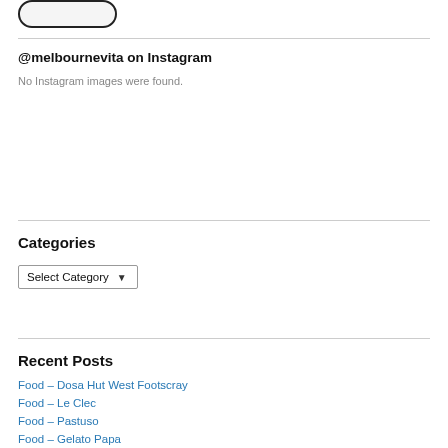[Figure (illustration): Partial pill/button shape visible at top of page]
@melbournevita on Instagram
No Instagram images were found.
Categories
Select Category
Recent Posts
Food – Dosa Hut West Footscray
Food – Le Clec
Food – Pastuso
Food – Gelato Papa
Food – The Press Club